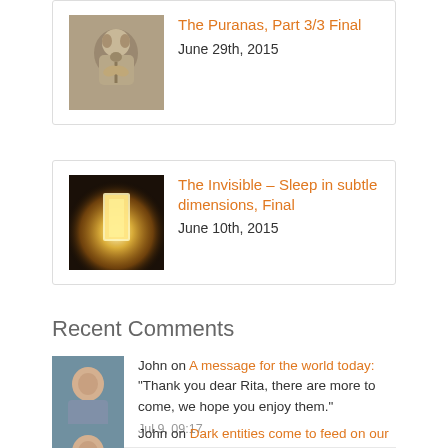[Figure (photo): Stone carving of Ganesha deity]
The Puranas, Part 3/3 Final
June 29th, 2015
[Figure (photo): Glowing doorway with light in subtle dimensions]
The Invisible – Sleep in subtle dimensions, Final
June 10th, 2015
Recent Comments
[Figure (photo): Photo of John, an older man]
John on A message for the world today: "Thank you dear Rita, there are more to come, we hope you enjoy them."
Jul 9, 09:17
[Figure (photo): Photo of John, an older man]
John on Dark entities come to feed on our impurities, Part 4/7: "By our vibrations we attract higher beings from the invisible world